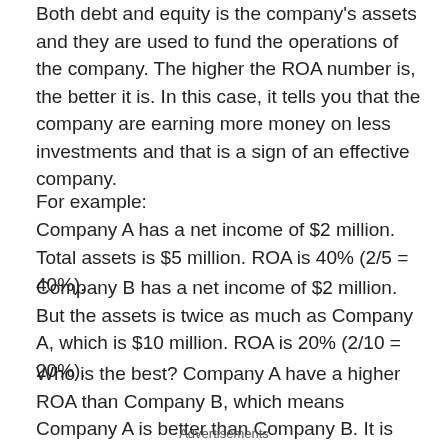Both debt and equity is the company's assets and they are used to fund the operations of the company. The higher the ROA number is, the better it is. In this case, it tells you that the company are earning more money on less investments and that is a sign of an effective company.
For example:
Company A has a net income of $2 million. Total assets is $5 million. ROA is 40% (2/5 = 40%).
Company B has a net income of $2 million. But the assets is twice as much as Company A, which is $10 million. ROA is 20% (2/10 = 20%).
Who is the best? Company A have a higher ROA than Company B, which means Company A is better than Company B. It is because Company A is better to convert its investments into profit.
Advertisements